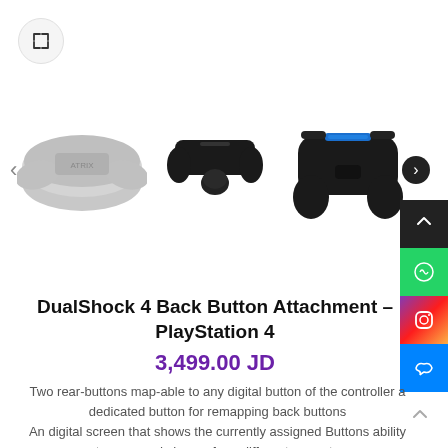[Figure (photo): Three product photos of DualShock 4 Back Button Attachment showing different angles: back attachment piece (grey/white), front view of attachment (black), and full controller with attachment (black with blue accent). Left navigation arrow visible. Expand icon button in top-left.]
DualShock 4 Back Button Attachment – PlayStation 4
3,499.00 JD
Two rear-buttons map-able to any digital button of the controller a dedicated button for remapping back buttons
An digital screen that shows the currently assigned Buttons ability to save and choose from different pre-sets